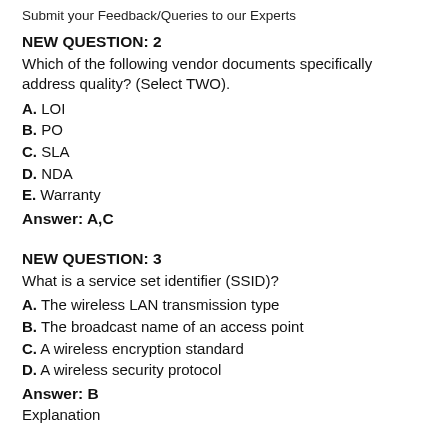Submit your Feedback/Queries to our Experts
NEW QUESTION: 2
Which of the following vendor documents specifically address quality? (Select TWO).
A. LOI
B. PO
C. SLA
D. NDA
E. Warranty
Answer: A,C
NEW QUESTION: 3
What is a service set identifier (SSID)?
A. The wireless LAN transmission type
B. The broadcast name of an access point
C. A wireless encryption standard
D. A wireless security protocol
Answer: B
Explanation